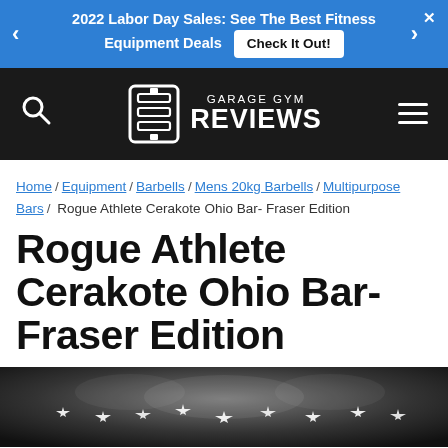2022 Labor Day Sales: See The Best Fitness Equipment Deals  Check It Out!
[Figure (logo): Garage Gym Reviews logo — white barbell icon with 'GARAGE GYM REVIEWS' text on black navbar]
Home / Equipment / Barbells / Mens 20kg Barbells / Multipurpose Bars / Rogue Athlete Cerakote Ohio Bar- Fraser Edition
Rogue Athlete Cerakote Ohio Bar- Fraser Edition
[Figure (photo): Black and white photo showing decorative stars and eagle/American flag imagery, bottom portion of a barbell product page hero image]